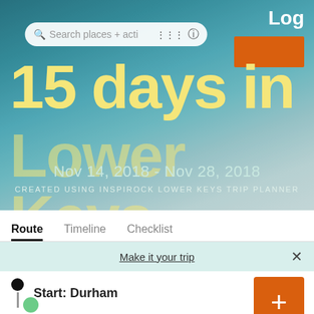Search places + activities  Log
15 days in Lower Keys
Nov 14, 2018  -  Nov 28, 2018
CREATED USING INSPIROCK LOWER KEYS TRIP PLANNER
Route   Timeline   Checklist
Make it your trip
Start: Durham